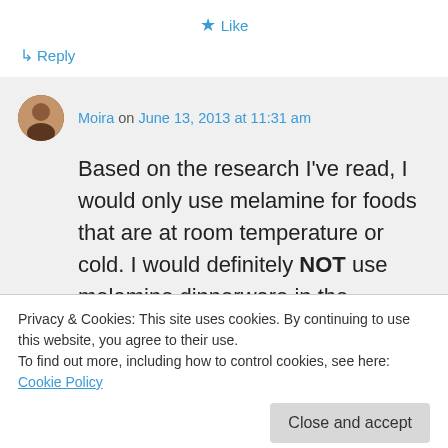★ Like
↳ Reply
Moira on June 13, 2013 at 11:31 am
Based on the research I've read, I would only use melamine for foods that are at room temperature or cold. I would definitely NOT use melamine dinnerware in the microwave nor would I put warm or hot
Privacy & Cookies: This site uses cookies. By continuing to use this website, you agree to their use.
To find out more, including how to control cookies, see here: Cookie Policy
Close and accept
microwave. Excessive heat can make the